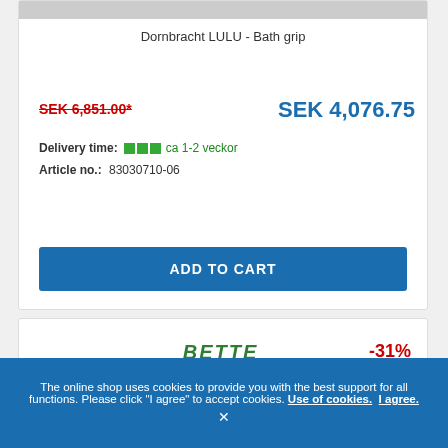[Figure (photo): Product image of Dornbracht LULU Bath grip (partially visible at top)]
Dornbracht LULU - Bath grip
SEK 6,851.00*
SEK 4,076.75
Delivery time: ca 1-2 veckor
Article no.: 83030710-06
ADD TO CART
[Figure (logo): BETTE logo - Baden und Duschen]
-31%
The online shop uses cookies to provide you with the best support for all functions. Please click "I agree" to accept cookies. Use of cookies. I agree.